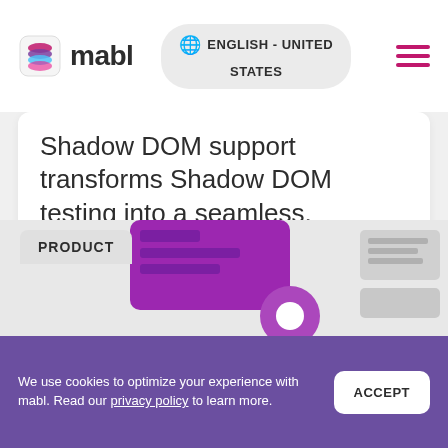mabl — ENGLISH - UNITED STATES
Shadow DOM support transforms Shadow DOM testing into a seamless, scalable part of your quality engineering strategy for a better customer experience.
LEARN MORE
PRODUCT
We use cookies to optimize your experience with mabl. Read our privacy policy to learn more.
ACCEPT